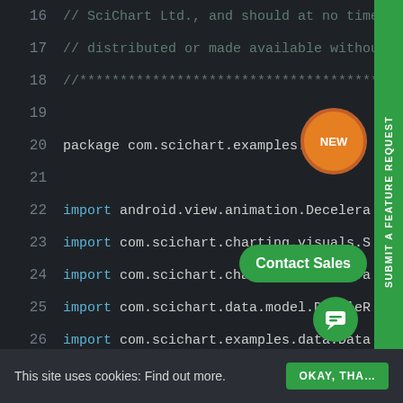[Figure (screenshot): Code editor screenshot showing Kotlin source code for CandlestickChartFragment, with line numbers 16-34. Lines include package declaration, import statements, and class definition. Dark background editor theme with syntax highlighting. Overlaid UI elements: orange 'NEW' badge, green 'SUBMIT A FEATURE REQUEST' side tab, green 'Contact Sales' button, green chat icon button.]
This site uses cookies: Find out more.